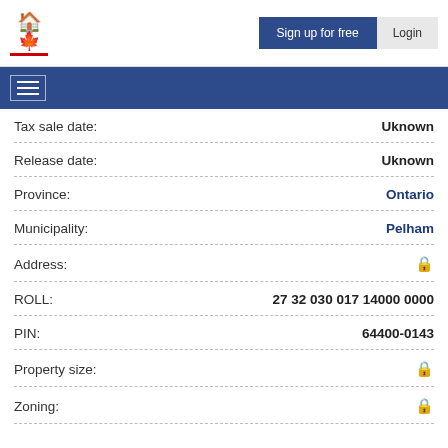Sign up for free | Login
| Field | Value |
| --- | --- |
| Tax sale date: | Uknown |
| Release date: | Uknown |
| Province: | Ontario |
| Municipality: | Pelham |
| Address: | 🔒 |
| ROLL: | 27 32 030 017 14000 0000 |
| PIN: | 64400-0143 |
| Property size: | 🔒 |
| Zoning: | 🔒 |